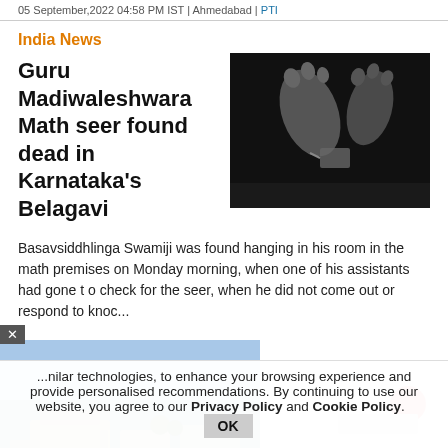05 September,2022 04:58 PM IST | Ahmedabad | PTI
India News
Guru Madiwaleshwara Math seer found dead in Karnataka's Belagavi
[Figure (photo): Black and white photo of feet with a tag, suggesting a deceased person in a morgue or crime scene]
Basavsiddhlinga Swamiji was found hanging in his room in the math premises on Monday morning, when one of his assistants had gone to check for the seer, when he did not come out or respond to knoc...
[Figure (photo): Aerial photograph of a flooded town/village with buildings and roads submerged in water]
[Figure (photo): Partial image visible at the right side, colorful content partially obscured]
...nilar technologies, to enhance your browsing experience and provide personalised recommendations. By continuing to use our website, you agree to our Privacy Policy and Cookie Policy.